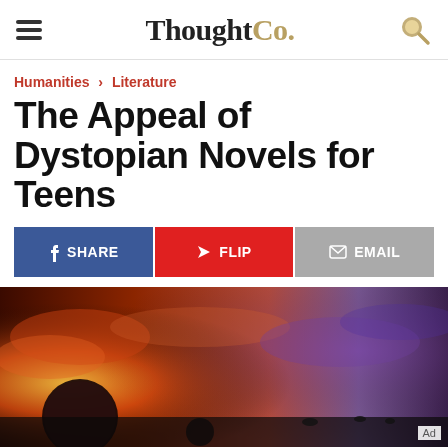ThoughtCo.
Humanities › Literature
The Appeal of Dystopian Novels for Teens
SHARE | FLIP | EMAIL
[Figure (illustration): A dramatic sci-fi/dystopian landscape with a reddish-orange sky, glowing clouds, dark planetary bodies on the left, and a purple-hued haze on the right. Small figures or ships visible on the horizon.]